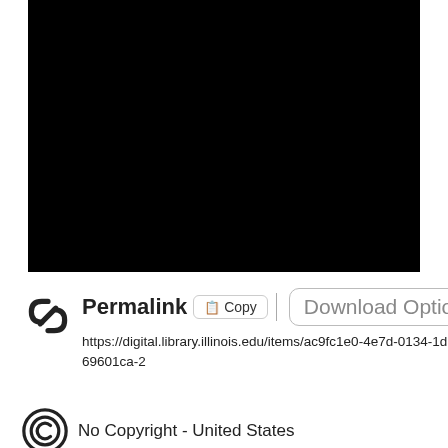[Figure (photo): Large black rectangle representing a redacted or blank image area]
Permalink  Copy  Download Options...
https://digital.library.illinois.edu/items/ac9fc1e0-4e7d-0134-1db1-0050569601ca-2
No Copyright - United States